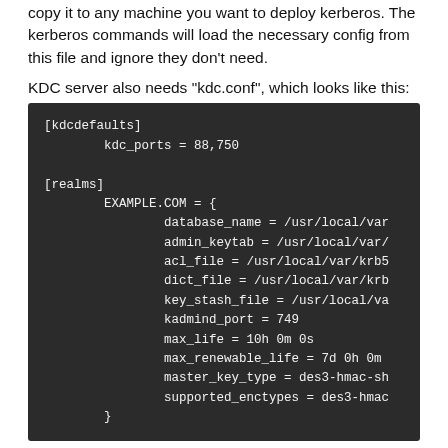copy it to any machine you want to deploy kerberos. The kerberos commands will load the necessary config from this file and ignore they don't need.
KDC server also needs "kdc.conf", which looks like this:
[Figure (screenshot): Dark-background code block showing kdc.conf configuration file with [kdcdefaults] and [realms] sections including EXAMPLE.COM realm settings]
It contains, which contains the list and how the above the ...